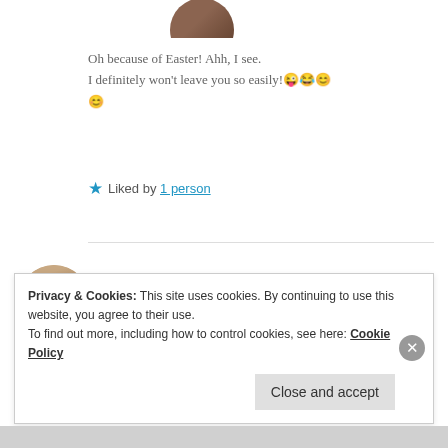[Figure (photo): Circular avatar photo of a person, cropped at top of page]
Oh because of Easter! Ahh, I see.
I definitely won't leave you so easily!😜😂😊
😊
★ Liked by 1 person
[Figure (photo): Circular avatar photo of Huguetta, a woman with shoulder-length hair]
HUGUETTA
18 Apr 2019 at 6:11 pm
Privacy & Cookies: This site uses cookies. By continuing to use this website, you agree to their use.
To find out more, including how to control cookies, see here: Cookie Policy
Close and accept